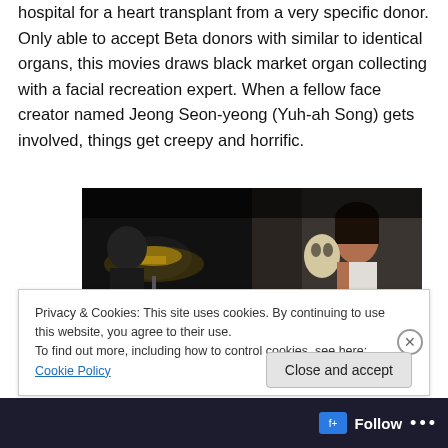hospital for a heart transplant from a very specific donor. Only able to accept Beta donors with similar to identical organs, this movies draws black market organ collecting with a facial recreation expert. When a fellow face creator named Jeong Seon-yeong (Yuh-ah Song) gets involved, things get creepy and horrific.
[Figure (photo): A dark movie still showing two people in a dimly lit room with a lamp, one person appears to be holding a mask or face prop.]
Privacy & Cookies: This site uses cookies. By continuing to use this website, you agree to their use.
To find out more, including how to control cookies, see here: Cookie Policy
Close and accept
Follow ...